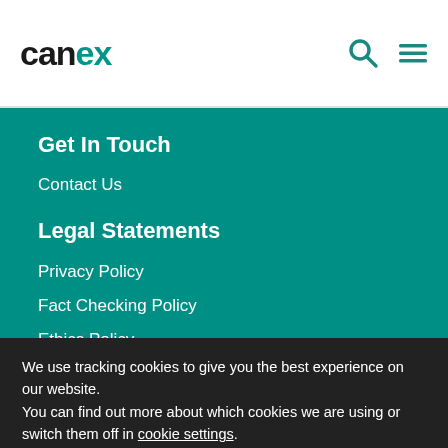canex
Get In Touch
Contact Us
Legal Statements
Privacy Policy
Fact Checking Policy
Ethics Policy
We use tracking cookies to give you the best experience on our website.
You can find out more about which cookies we are using or switch them off in cookie settings.
Accept